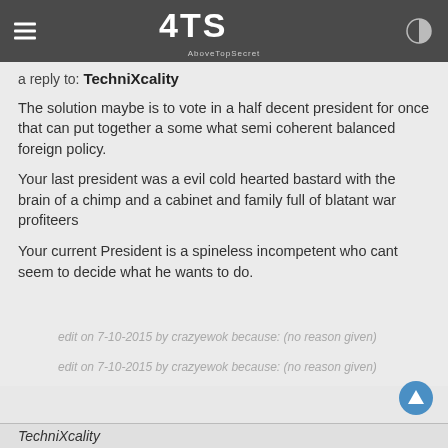ATS AboveTopSecret
a reply to: TechniXcality
The solution maybe is to vote in a half decent president for once that can put together a some what semi coherent balanced foreign policy.
Your last president was a evil cold hearted bastard with the brain of a chimp and a cabinet and family full of blatant war profiteers
Your current President is a spineless incompetent who cant seem to decide what he wants to do.
edit on 7-10-2015 by crazyewok because: (no reason given)
edit on 7-10-2015 by crazyewok because: (no reason given)
TechniXcality